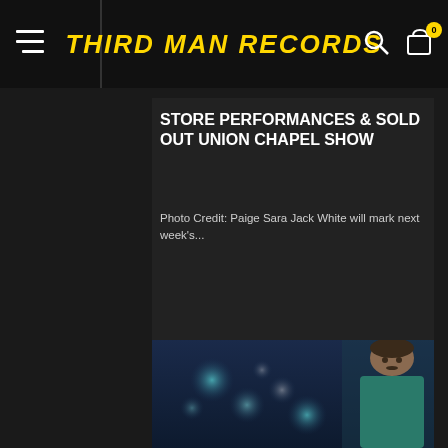THIRD MAN RECORDS
STORE PERFORMANCES & SOLD OUT UNION CHAPEL SHOW
Photo Credit: Paige Sara Jack White will mark next week's...
[Figure (photo): Portrait of a young man with dark hair and mustache, wearing a teal/green jacket, with bokeh city lights in background at night]